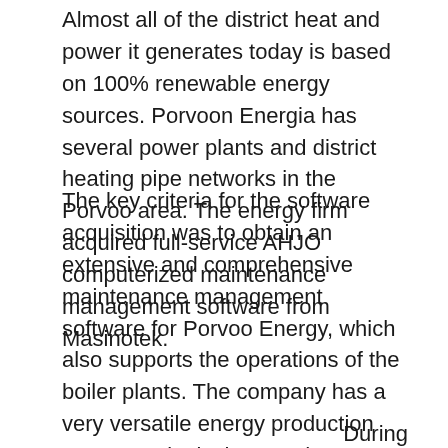Almost all of the district heat and power it generates today is based on 100% renewable energy sources. Porvoon Energia has several power plants and district heating pipe networks in the Porvoo area. The energy firm acquired full-service AHJO computerized maintenance management software from Masinotek.
The key criteria for the software acquisition was to obtain an extensive and comprehensive maintenance management software for Porvoo Energy, which also supports the operations of the boiler plants. The company has a very versatile energy production concept. District heat and electricity are produced at Porvoo Energy from both biomass and natural gas. Some peaker boiler plants use oil as fuel when necessary during peak heat consumption times. Porvoo Energy also uses both hydro and wind power plants in electricity generation.
During